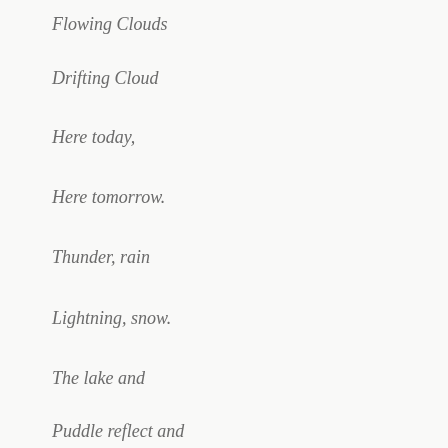Flowing Clouds
Drifting Cloud
Here today,
Here tomorrow.
Thunder, rain
Lightning, snow.
The lake and
Puddle reflect and